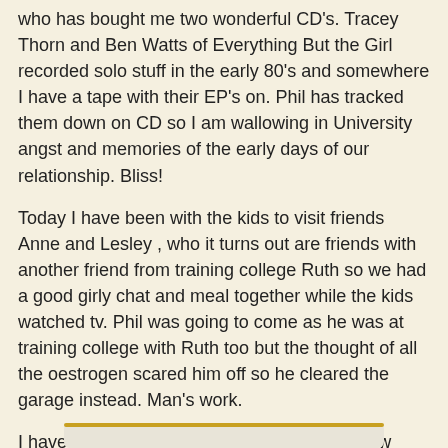who has bought me two wonderful CD's. Tracey Thorn and Ben Watts of Everything But the Girl recorded solo stuff in the early 80's and somewhere I have a tape with their EP's on. Phil has tracked them down on CD so I am wallowing in University angst and memories of the early days of our relationship. Bliss!
Today I have been with the kids to visit friends Anne and Lesley , who it turns out are friends with another friend from training college Ruth so we had a good girly chat and meal together while the kids watched tv. Phil was going to come as he was at training college with Ruth too but the thought of all the oestrogen scared him off so he cleared the garage instead. Man's work.
I have also had some time to play with the new papers that arrived yesterday. But not todays... Today I received the fantabulous new BG 6x6 paper pads. Yes all 4. What a paper tart I am.
Anyway here is todays work...
[Figure (other): Bottom bar/panel partially visible at the bottom of the page, with a golden/yellow top border.]